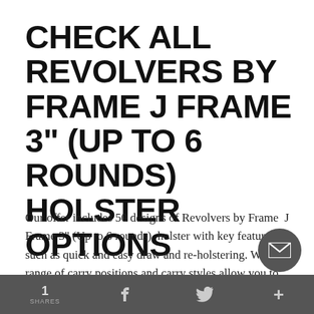CHECK ALL REVOLVERS BY FRAME J FRAME 3" (UP TO 6 ROUNDS) HOLSTER OPTIONS
Our offer includes 50 designs of Revolvers by Frame  J Frame 3" (Up to 6 rounds)  holster with key features such as quick and easy draw and re-holstering. Wide range of carry positions and carry styles allow you to browse thro...
1 SHARES  f  (twitter bird)  +